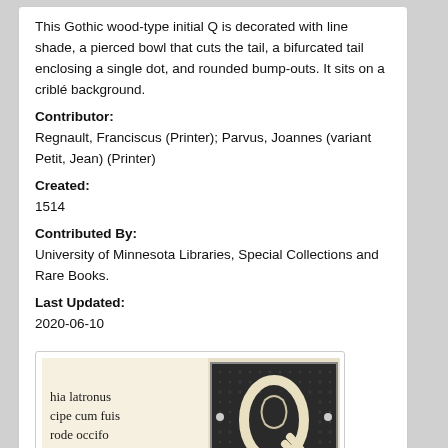This Gothic wood-type initial Q is decorated with line shade, a pierced bowl that cuts the tail, a bifurcated tail enclosing a single dot, and rounded bump-outs. It sits on a criblé background.
Contributor:
Regnault, Franciscus (Printer); Parvus, Joannes (variant Petit, Jean) (Printer)
Created:
1514
Contributed By:
University of Minnesota Libraries, Special Collections and Rare Books.
Last Updated:
2020-06-10
[Figure (photo): A historical printed page showing Gothic text in Latin on the left side reading 'hia latronus cipe cum fuis rode occifo les ipse a Sy-' and an ornate decorated initial letter Q in a woodcut style on the right side, with criblé background and bifurcated tail.]